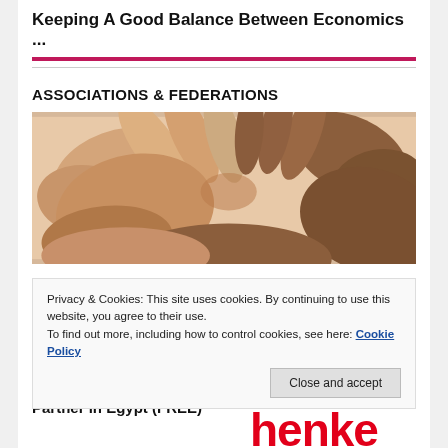Keeping A Good Balance Between Economics ...
ASSOCIATIONS & FEDERATIONS
[Figure (photo): Close-up photograph of multiple hands of different skin tones touching together in a circle, symbolizing cooperation or partnership.]
Privacy & Cookies: This site uses cookies. By continuing to use this website, you agree to their use.
To find out more, including how to control cookies, see here: Cookie Policy
Henkel and Plastic Bank Partner in Egypt (FREE)
[Figure (logo): Henkel logo — red arc above red 'henke' text (partially visible)]